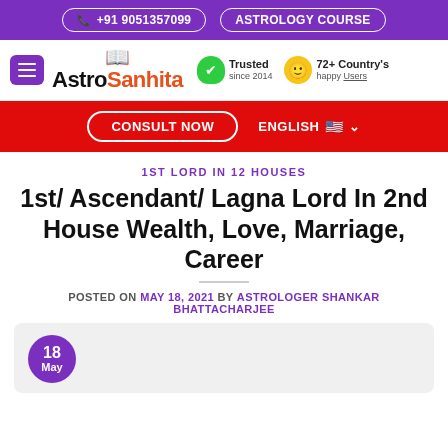+91 9051357099   ASTROLOGY COURSE
[Figure (logo): AstroSanhita logo with book icon, Trusted since 2014 badge, 72+ Country's happy Users badge]
CONSULT NOW   ENGLISH
1ST LORD IN 12 HOUSES
1st/ Ascendant/ Lagna Lord In 2nd House Wealth, Love, Marriage, Career
POSTED ON MAY 18, 2021 BY ASTROLOGER SHANKAR BHATTACHARJEE
[Figure (other): Post card area with purple circle date badge showing 18 May]